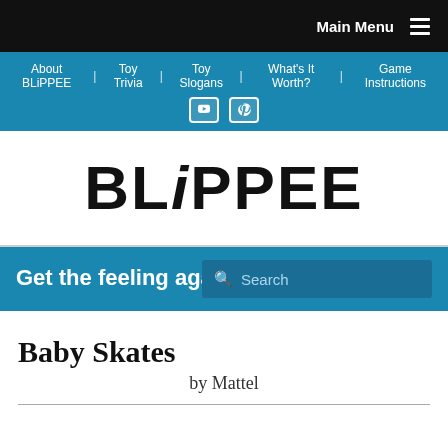Main Menu
About BLiPPEE | Toy Trivia | Toy Slogans | What's It Worth? | Game Instructions
BLiPPEE
Get the feeling again!
Search
Baby Skates
by Mattel